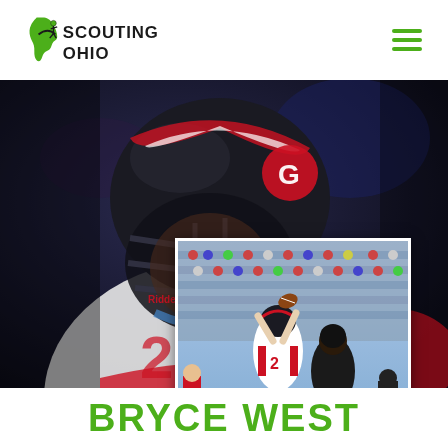[Figure (logo): Scouting Ohio logo — Ohio state silhouette in green with a football arc and stick figure throwing, with text SCOUTING OHIO]
[Figure (photo): Large close-up photo of football player #2 wearing Riddell helmet with red/white GHS uniform, dark background]
[Figure (photo): Inset action photo of player #2 in white uniform catching/leaping for a ball, crowd visible in background bleachers]
BRYCE WEST